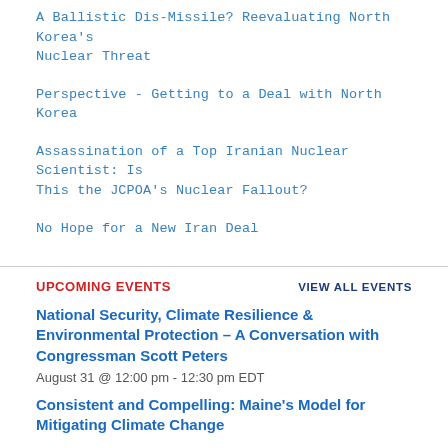A Ballistic Dis-Missile? Reevaluating North Korea's Nuclear Threat
Perspective - Getting to a Deal with North Korea
Assassination of a Top Iranian Nuclear Scientist: Is This the JCPOA's Nuclear Fallout?
No Hope for a New Iran Deal
Upcoming Events
VIEW ALL EVENTS
National Security, Climate Resilience & Environmental Protection – A Conversation with Congressman Scott Peters
August 31 @ 12:00 pm - 12:30 pm EDT
Consistent and Compelling: Maine's Model for Mitigating Climate Change